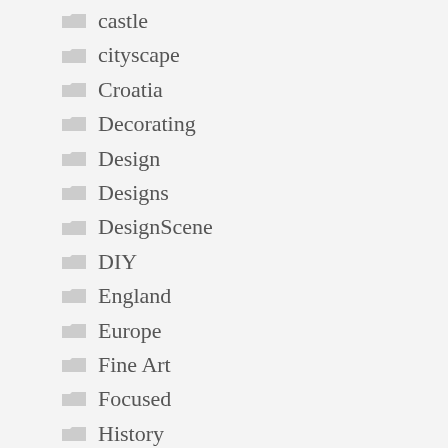castle
cityscape
Croatia
Decorating
Design
Designs
DesignScene
DIY
England
Europe
Fine Art
Focused
History
Hungary